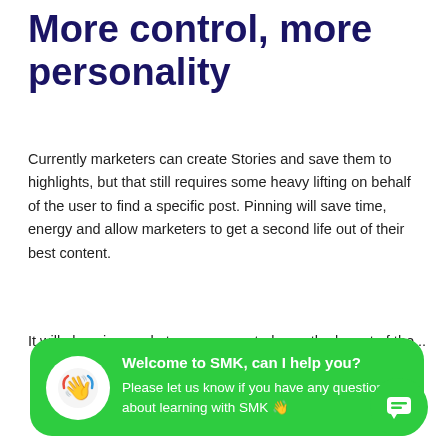More control, more personality
Currently marketers can create Stories and save them to highlights, but that still requires some heavy lifting on behalf of the user to find a specific post. Pinning will save time, energy and allow marketers to get a second life out of their best content.
It will also give marketers more control over the layout of their...
[Figure (screenshot): Green chat popup widget with waving hand avatar icon. Title: 'Welcome to SMK, can I help you?' Subtitle: 'Please let us know if you have any questions about learning with SMK 👋']
when a photo was posted. Obviously, this will provide further customisable options for brands.
As we mentioned before, a well-planned grid is important